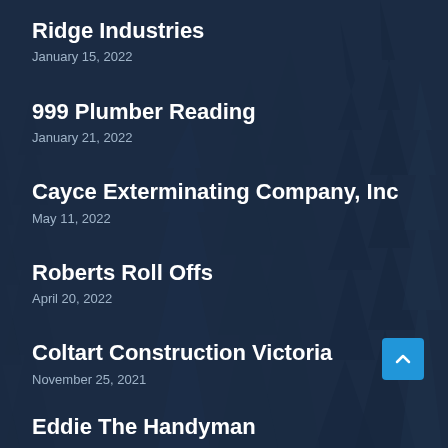Ridge Industries
January 15, 2022
999 Plumber Reading
January 21, 2022
Cayce Exterminating Company, Inc
May 11, 2022
Roberts Roll Offs
April 20, 2022
Coltart Construction Victoria
November 25, 2021
Eddie The Handyman